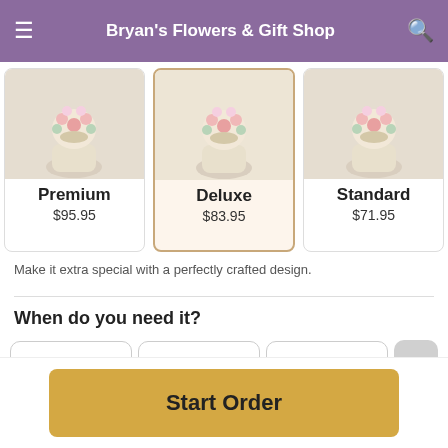Bryan's Flowers & Gift Shop
[Figure (screenshot): Three flower arrangement cards: Premium $95.95, Deluxe $83.95 (selected/highlighted), Standard $71.95]
Make it extra special with a perfectly crafted design.
When do you need it?
Today
Sep 2
Sat
Sep 3
Sun
Sep 4
Start Order